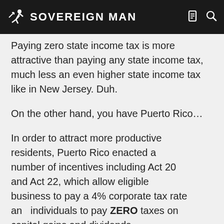SOVEREIGN MAN
Paying zero state income tax is more attractive than paying any state income tax, much less an even higher state income tax like in New Jersey. Duh.
On the other hand, you have Puerto Rico…
In order to attract more productive residents, Puerto Rico enacted a number of incentives including Act 20 and Act 22, which allow eligible business to pay a 4% corporate tax rate and individuals to pay ZERO taxes on capital gains and dividends, respectively.